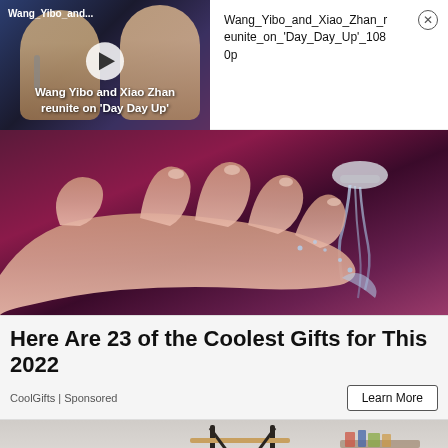[Figure (screenshot): Video thumbnail showing two Asian male celebrities (Wang Yibo and Xiao Zhan) with a play button overlay. Text overlay reads 'Wang Yibo and Xiao Zhan reunite on Day Day Up'. Label at top-left: 'Wang_Yibo_and...']
Wang_Yibo_and_Xiao_Zhan_reunite_on_'Day_Day_Up'_1080p
[Figure (photo): Close-up photo of a hand with water streaming from fingers, dark purple/maroon background suggesting water basin or sink.]
Here Are 23 of the Coolest Gifts for This 2022
CoolGifts | Sponsored
[Figure (photo): Partial view of a clothes rack or similar home furniture item, light grey background.]